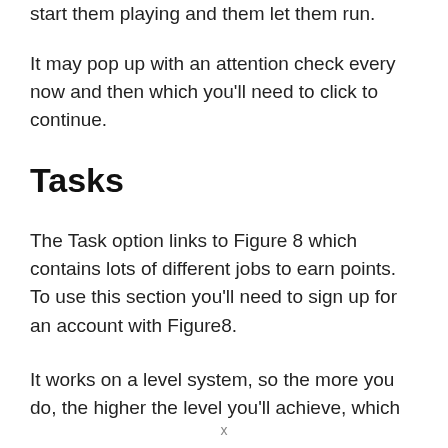start them playing and them let them run.
It may pop up with an attention check every now and then which you'll need to click to continue.
Tasks
The Task option links to Figure 8 which contains lots of different jobs to earn points. To use this section you'll need to sign up for an account with Figure8.
It works on a level system, so the more you do, the higher the level you'll achieve, which
x